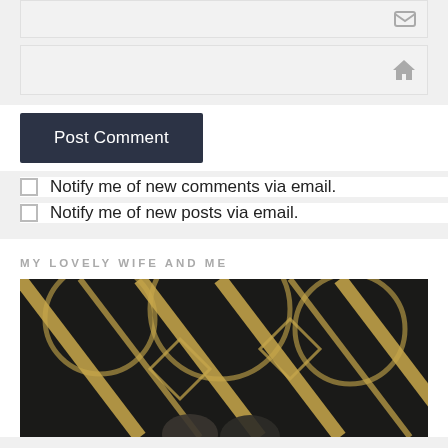[Figure (screenshot): Input field with email/envelope icon on right side, light gray background]
[Figure (screenshot): Input field with home/house icon on right side, light gray background]
Post Comment
Notify me of new comments via email.
Notify me of new posts via email.
MY LOVELY WIFE AND ME
[Figure (photo): Photo of couple in front of geometric black and gold Art Deco patterned background]